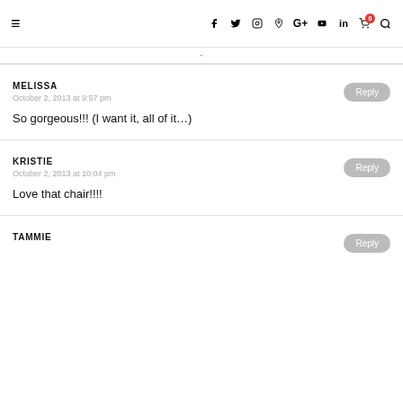≡  f  twitter  instagram  pinterest  G+  youtube  in  cart(0)  search
·
MELISSA
October 2, 2013 at 9:57 pm
So gorgeous!!! (I want it, all of it...)
Reply
KRISTIE
October 2, 2013 at 10:04 pm
Love that chair!!!!
Reply
TAMMIE
Reply